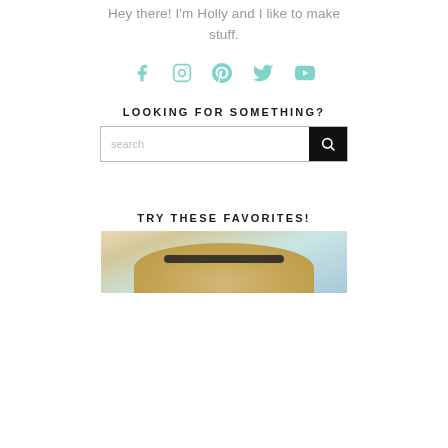Hey there! I'm Holly and I like to make stuff.
[Figure (infographic): Row of 5 social media icons in teal/mint color: Facebook, Instagram, Pinterest, Twitter, YouTube]
LOOKING FOR SOMETHING?
[Figure (screenshot): Search bar with text input placeholder 'search' and black search button with magnifying glass icon]
TRY THESE FAVORITES!
[Figure (photo): Photo showing top of a straw hat with a dark band against a light blue background]